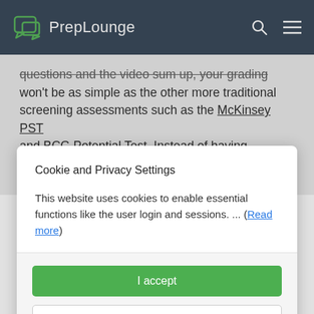PrepLounge
questions and the video sum up, your grading won't be as simple as the other more traditional screening assessments such as the McKinsey PST and BCG Potential Test. Instead of having standardized scores (i.e., how many questions a
Cookie and Privacy Settings
This website uses cookies to enable essential functions like the user login and sessions. ... (Read more)
I accept
Manage settings individually